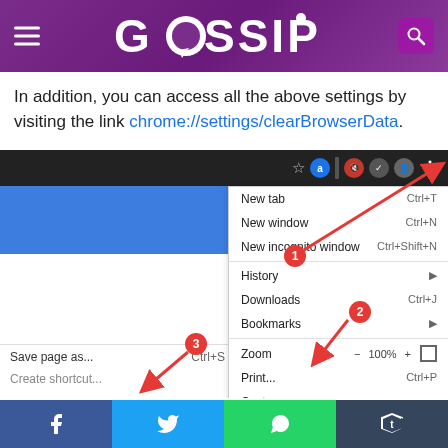[Figure (screenshot): Gossip website header with purple gradient background, hamburger menu icon on left, GOSSIP logo in center with chat bubble replacing O, search icon on right]
In addition, you can access all the above settings by visiting the link chrome://settings/clearBrowserData.
[Figure (screenshot): Chrome browser screenshot showing the three-dot menu open with options: New tab (Ctrl+T), New window (Ctrl+N), New incognito window (Ctrl+Shift+N), History, Downloads (Ctrl+J), Bookmarks, Zoom 100%, Print (Ctrl+P), Cast, Find (Ctrl+F), More tools (highlighted), Edit/Cut/Copy/Paste row. Three red numbered badges (1,2,3) with red arrows pointing to the three-dot button, Find option, and More tools option respectively. Bottom shows Save page as (Ctrl+S) and Create shortcut menu items.]
[Figure (screenshot): Social sharing bar at bottom with Facebook (blue), Twitter (light blue), WhatsApp (green), Tumblr (dark blue) icons]